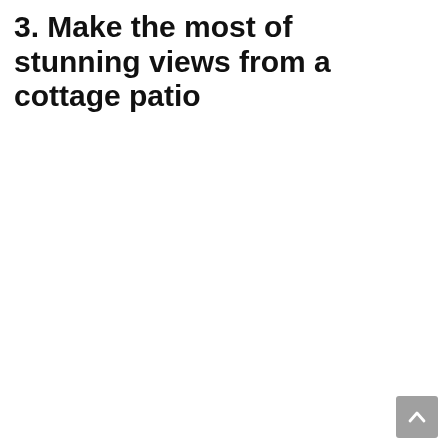3. Make the most of stunning views from a cottage patio
[Figure (other): Scroll-to-top button, a small grey square with an upward-pointing chevron arrow, positioned at bottom-right corner of the page.]